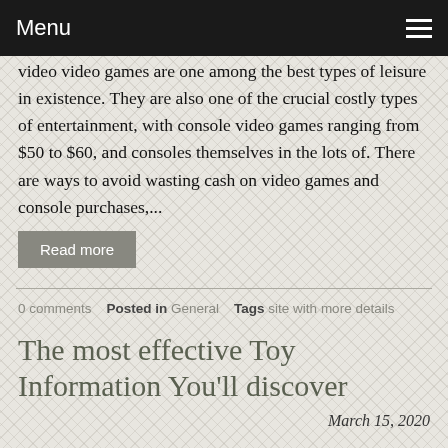Menu
video video games are one among the best types of leisure in existence. They are also one of the crucial costly types of entertainment, with console video games ranging from $50 to $60, and consoles themselves in the lots of. There are ways to avoid wasting cash on video games and console purchases,...
Read more
0 comments  Posted in General  Tags site with more details
The most effective Toy Information You'll discover
March 15, 2020